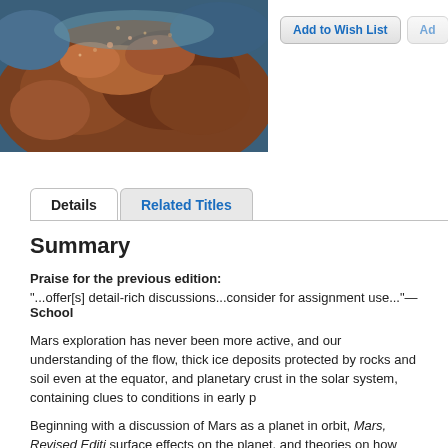[Figure (photo): Close-up photograph of Mars surface soil and rocks with reddish-brown dusty texture and blue-tinted background]
Add to Wish List
Details  Related Titles
Summary
Praise for the previous edition:
"...offer[s] detail-rich discussions...consider for assignment use..."—School
Mars exploration has never been more active, and our understanding of the flow, thick ice deposits protected by rocks and soil even at the equator, and planetary crust in the solar system, containing clues to conditions in early p
Beginning with a discussion of Mars as a planet in orbit, Mars, Revised Editi surface effects on the planet, and theories on how the severity of its season color book explores what is known and inferred about the composition and discussions of weather, surface conditions, and surface features. The recov
Chapters include:
Mars: Fast Facts about a Planet in Orbit